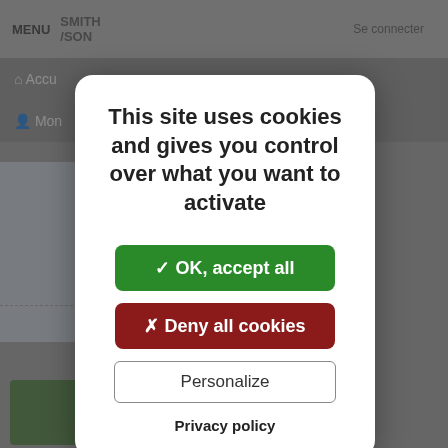[Figure (screenshot): Website background with navigation bar showing MENU, SMITH/SON logo, bookmark icon, user icon with 'Se connecter' link, cart icon. Below are navigation breadcrumb rows with 'Accu...' and 'Mon...' items visible. Content area shows partially visible book thumbnails and text including 'Byron Barton', 'Grand format', '11.20 €'. A dark semi-transparent overlay covers the background.]
This site uses cookies and gives you control over what you want to activate
✓ OK, accept all
✗ Deny all cookies
Personalize
Privacy policy